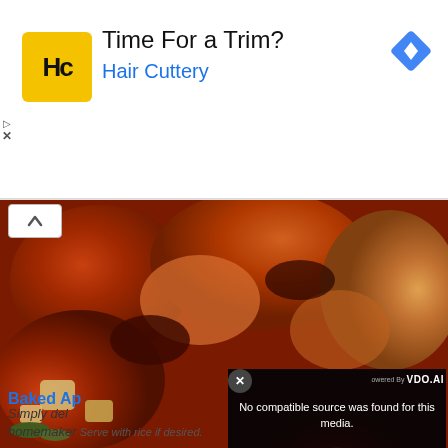[Figure (screenshot): Advertisement banner for Hair Cuttery with yellow HC logo, title 'Time For a Trim?', subtitle 'Hair Cuttery', and a blue navigation diamond icon on the right]
[Figure (photo): Baked chicken food photo showing roasted chicken pieces with vegetables on a plate]
[Figure (screenshot): Video overlay popup with close X button, 'Powered By VDO.AI' branding, dark background with text 'No compatible source was found for this media.' and 'IMMUNE SYSTEM HOW IT ACTUALLY WORKS' title graphic]
Baked Ap
Simply del
homemaker. Serve with rice if desired.